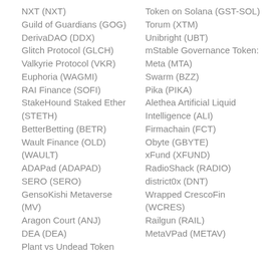NXT (NXT)
Guild of Guardians (GOG)
DerivaDAO (DDX)
Glitch Protocol (GLCH)
Valkyrie Protocol (VKR)
Euphoria (WAGMI)
RAI Finance (SOFI)
StakeHound Staked Ether (STETH)
BetterBetting (BETR)
Wault Finance (OLD) (WAULT)
ADAPad (ADAPAD)
SERO (SERO)
GensoKishi Metaverse (MV)
Aragon Court (ANJ)
DEA (DEA)
Plant vs Undead Token
Token on Solana (GST-SOL)
Torum (XTM)
Unibright (UBT)
mStable Governance Token: Meta (MTA)
Swarm (BZZ)
Pika (PIKA)
Alethea Artificial Liquid Intelligence (ALI)
Firmachain (FCT)
Obyte (GBYTE)
xFund (XFUND)
RadioShack (RADIO)
district0x (DNT)
Wrapped CrescoFin (WCRES)
Railgun (RAIL)
MetaVPad (METAV)